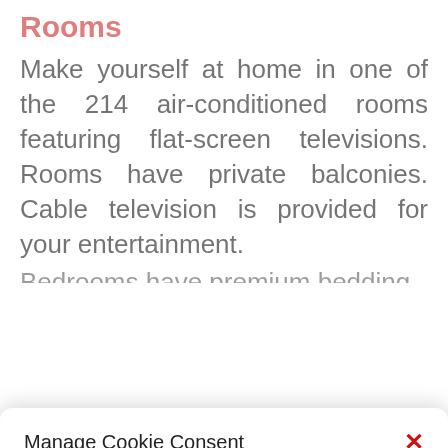Rooms
Make yourself at home in one of the 214 air-conditioned rooms featuring flat-screen televisions. Rooms have private balconies. Cable television is provided for your entertainment.
Manage Cookie Consent
To provide the best experiences, we use technologies like cookies to store and/or access device information. Consenting to these technologies will allow us to process data such as browsing behavior or unique IDs on this site. Not consenting or withdrawing consent, may adversely affect certain features and functions.
Accept
Opt-out preferences   Privacy Statement